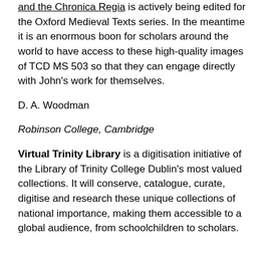and the Chronica Regia is actively being edited for the Oxford Medieval Texts series. In the meantime it is an enormous boon for scholars around the world to have access to these high-quality images of TCD MS 503 so that they can engage directly with John's work for themselves.
D. A. Woodman
Robinson College, Cambridge
Virtual Trinity Library is a digitisation initiative of the Library of Trinity College Dublin's most valued collections. It will conserve, catalogue, curate, digitise and research these unique collections of national importance, making them accessible to a global audience, from schoolchildren to scholars.